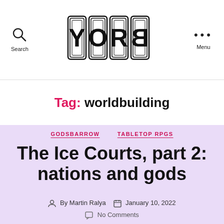YORB logo with Search and Menu navigation
Tag: worldbuilding
GODSBARROW  TABLETOP RPGS
The Ice Courts, part 2: nations and gods
By Martin Ralya  January 10, 2022
No Comments